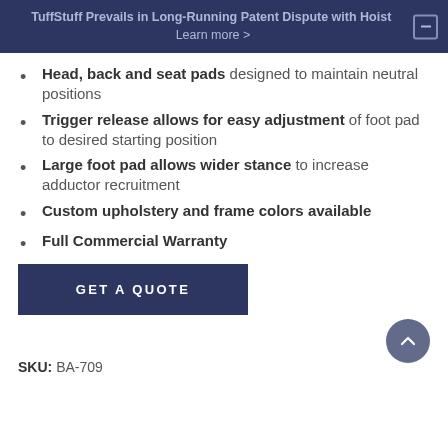TuffStuff Prevails in Long-Running Patent Dispute with Hoist  Learn more >
Head, back and seat pads designed to maintain neutral positions
Trigger release allows for easy adjustment of foot pad to desired starting position
Large foot pad allows wider stance to increase adductor recruitment
Custom upholstery and frame colors available
Full Commercial Warranty
GET A QUOTE
SKU: BA-709